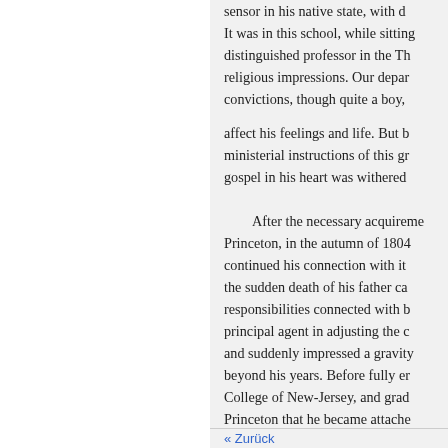sensor in his native state, with d It was in this school, while sitting distinguished professor in the Th religious impressions. Our depar convictions, though quite a boy,
affect his feelings and life. But b ministerial instructions of this gr gospel in his heart was withered
After the necessary acquireme Princeton, in the autumn of 1804 continued his connection with it the sudden death of his father ca responsibilities connected with b principal agent in adjusting the c and suddenly impressed a gravity beyond his years. Before fully er College of New-Jersey, and grad Princeton that he became attache afterwards married and brought v education of the rising family of which were spared from the vari
« Zurück